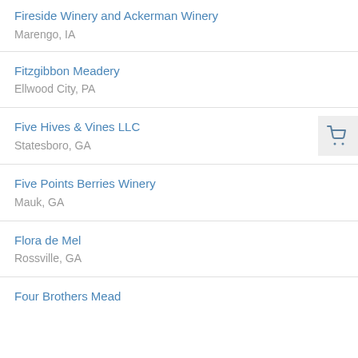Fireside Winery and Ackerman Winery
Marengo, IA
Fitzgibbon Meadery
Ellwood City, PA
Five Hives & Vines LLC
Statesboro, GA
Five Points Berries Winery
Mauk, GA
Flora de Mel
Rossville, GA
Four Brothers Mead